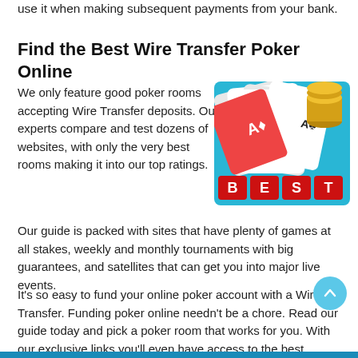use it when making subsequent payments from your bank.
Find the Best Wire Transfer Poker Online
We only feature good poker rooms accepting Wire Transfer deposits. Our experts compare and test dozens of websites, with only the very best rooms making it into our top ratings.
[Figure (photo): Poker image showing playing cards (Ace of Hearts, Ace of Clubs, Ace of Diamonds), poker chips, and red dice spelling out B-E-S-T on a blue background]
Our guide is packed with sites that have plenty of games at all stakes, weekly and monthly tournaments with big guarantees, and satellites that can get you into major live events.
It's so easy to fund your online poker account with a Wire Transfer. Funding poker online needn't be a chore. Read our guide today and pick a poker room that works for you. With our exclusive links you'll even have access to the best welcome bonuses with hundreds of dollars in free cash up for grabs.